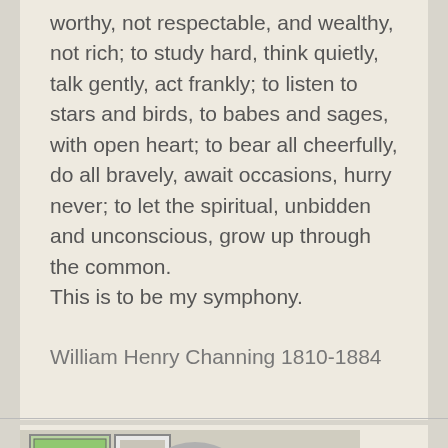worthy, not respectable, and wealthy, not rich; to study hard, think quietly, talk gently, act frankly; to listen to stars and birds, to babes and sages, with open heart; to bear all cheerfully, do all bravely, await occasions, hurry never; to let the spiritual, unbidden and unconscious, grow up through the common.
This is to be my symphony.
William Henry Channing 1810-1884
[Figure (photo): Partial photo of a woman with gray hair and dark-rimmed glasses, smiling, with framed artwork visible in the background.]